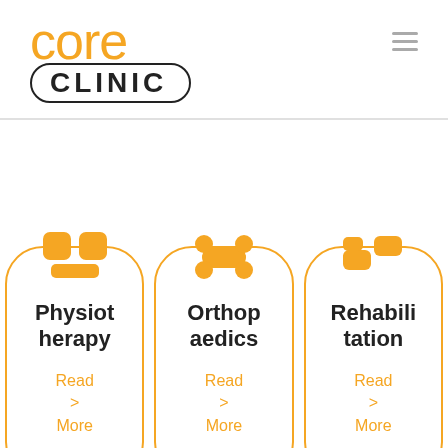[Figure (logo): Core Clinic logo: orange 'core' text above black 'CLINIC' in rounded rectangle border]
[Figure (illustration): Service cards: Physiotherapy, Orthopaedics, Rehabilitation each with orange icon, bold title, orange Read More link]
[Figure (illustration): Bottom row partial icons: syringe icon box and heart/hand icon box]